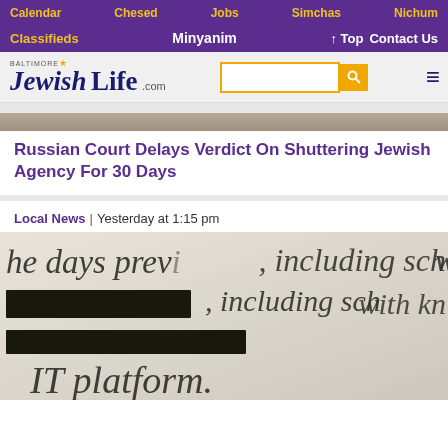Calendar  Chesed  Jobs  Simchas  Nichum
Classifieds  Minyanim  ↑ Top  Contact Us
[Figure (logo): Baltimore Jewish Life .com logo with search bar and hamburger menu]
Russian Court Delays Verdict On Shuttering Jewish Agency For 30 Days
Local News | Yesterday at 1:15 pm
[Figure (photo): Blurred close-up photograph of a document with redacted black bars, showing partial text: 'he days prev...', 'including sch...', 'with kn...', 'IT platform.']